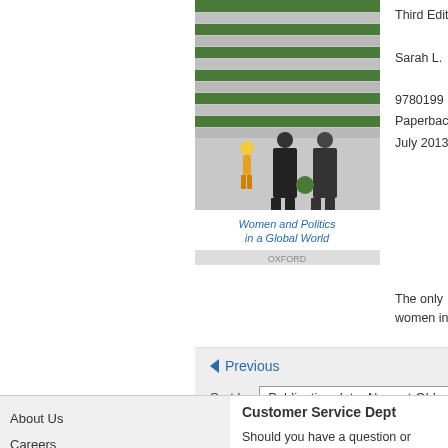[Figure (illustration): Book cover of 'Women and Politics in a Global World' Third Edition by Sarah L., published July 2013. Shows women in traditional dress against a striped background. ISBN 9780199...]
Third Edition
Sarah L.
9780199... Paperback July 2013
The only ... women in...
◄ Previous
Sort by Publication date: Newest-Oldest
About Us
Careers
News
Academic
Journals
Customer Service Dept
Should you have a question or problem, please contact our Customer Service Department.
Monday - Friday,
8:00 am - 6:00 pm (EST),
Contact U...
Join Our E...